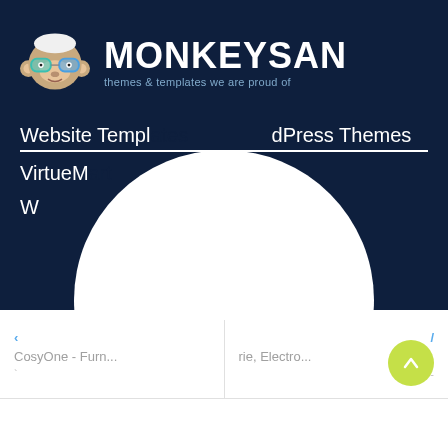[Figure (logo): MonkeySan logo with monkey wearing glasses and text MONKEYSAN with tagline 'themes & templates we are proud of']
Website Templates    WordPress Themes
VirtueMart    Themes
W...t
CosyOne - Furn...    rie, Electro...
[Figure (other): Large white circle overlay covering center of page]